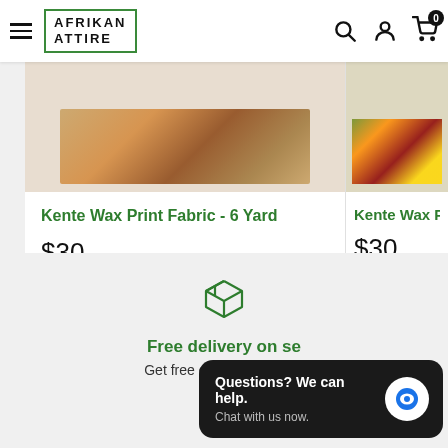Afrikan Attire
[Figure (screenshot): Product card: Kente Wax Print Fabric - 6 Yard, $30, In stock, Add to cart button]
Kente Wax Print Fabric - 6 Yard
$30
In stock
Add to cart
[Figure (screenshot): Partial product card: Kente Wax Print Fa..., $30, In stock, Add to...]
Kente Wax Print Fa
$30
In stock
Add to
[Figure (illustration): Box/package delivery icon in green outline style]
Free delivery on se
Get free delivery on all pu
Questions? We can help. Chat with us now.